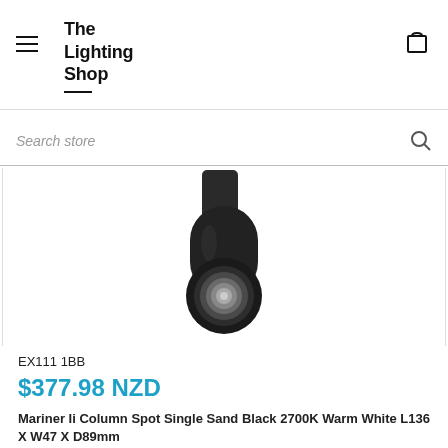The Lighting Shop
Search store
[Figure (photo): Black cylindrical wall-mounted column spot light (Mariner II), showing the front lens/reflector, viewed from a slight angle. The fixture is matte black with a circular LED lens visible.]
EX111 1BB
$377.98 NZD
Mariner Ii Column Spot Single Sand Black 2700K Warm White L136 X W47 X D89mm